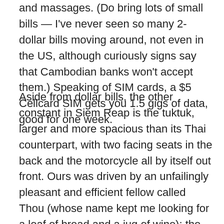and massages. (Do bring lots of small bills — I've never seen so many 2-dollar bills moving around, not even in the US, although curiously signs say that Cambodian banks won't accept them.) Speaking of SIM cards, a $5 Cellcard SIM gets you 1.5 gigs of data, good for one week.
Aside from dollar bills, the other constant in Siem Reap is the tuktuk, larger and more spacious than its Thai counterpart, with two facing seats in the back and the motorcycle all by itself out front. Ours was driven by an unfailingly pleasant and efficient fellow called Thou (whose name kept me looking for a loaf of bread and a jug of wine); the only drawback to this design is that the driver sits too far ahead of you for any conversation beyond the yelled “Stop!” at points of interest, so I sadly never got to really chat with Thou, even if his English was surprisingly good.